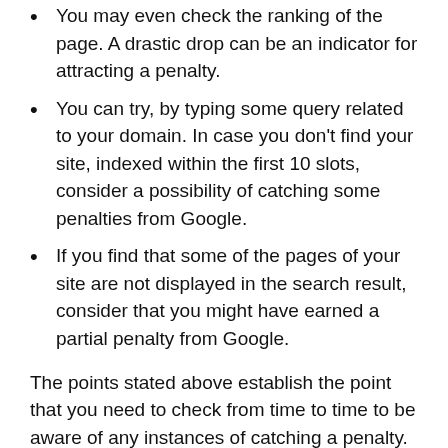You may even check the ranking of the page. A drastic drop can be an indicator for attracting a penalty.
You can try, by typing some query related to your domain. In case you don't find your site, indexed within the first 10 slots, consider a possibility of catching some penalties from Google.
If you find that some of the pages of your site are not displayed in the search result, consider that you might have earned a partial penalty from Google.
The points stated above establish the point that you need to check from time to time to be aware of any instances of catching a penalty.
How do I Recover my